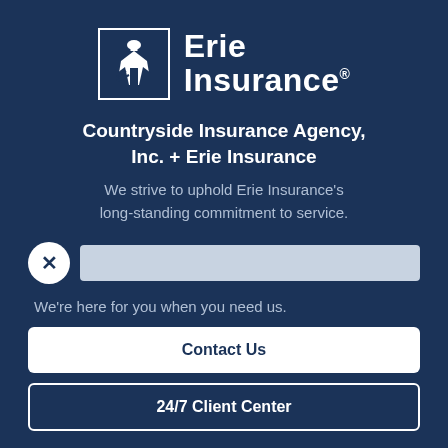[Figure (logo): Erie Insurance logo: white building/church icon in a white-bordered square box, followed by 'Erie Insurance®' in bold white text]
Countryside Insurance Agency, Inc. + Erie Insurance
We strive to uphold Erie Insurance's long-standing commitment to service.
[Figure (other): Search bar row with a circular close button (×) on the left and a grey search input bar on the right]
We're here for you when you need us.
Contact Us
24/7 Client Center